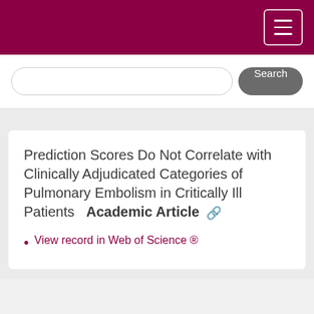Prediction Scores Do Not Correlate with Clinically Adjudicated Categories of Pulmonary Embolism in Critically Ill Patients  Academic Article
View record in Web of Science ®